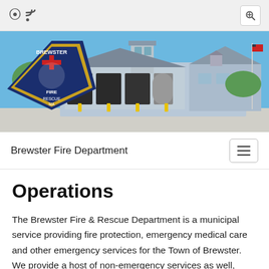[Figure (screenshot): Browser top bar with RSS icon on left and magnifier/zoom icon on right, gray background]
[Figure (photo): Brewster Fire Department building exterior — a large blue-gray fire station with multiple garage bays, a tower, and a flagpole. A Brewster Fire & Rescue badge/shield logo overlays the left side of the image.]
Brewster Fire Department
Operations
The Brewster Fire & Rescue Department is a municipal service providing fire protection, emergency medical care and other emergency services for the Town of Brewster. We provide a host of non-emergency services as well, including fire prevention and education and a full range of inspection and permitting services. The department operates out of a headquarters station located on Main Street and also